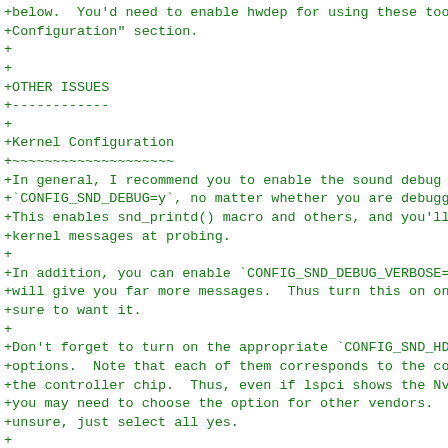+below.  You'd need to enable hwdep for using these tools.  S
+Configuration" section.
+
+
+OTHER ISSUES
+------------
+
+Kernel Configuration
+~~~~~~~~~~~~~~~~~~~~
+In general, I recommend you to enable the sound debug option
+`CONFIG_SND_DEBUG=y`, no matter whether you are debugging or
+This enables snd_printd() macro and others, and you'll get a
+kernel messages at probing.
+
+In addition, you can enable `CONFIG_SND_DEBUG_VERBOSE=y`.  B
+will give you far more messages.  Thus turn this on only whe
+sure to want it.
+
+Don't forget to turn on the appropriate `CONFIG_SND_HDA_CODE
+options.  Note that each of them corresponds to the codec ch
+the controller chip.  Thus, even if lspci shows the Nvidia c
+you may need to choose the option for other vendors.  If you
+unsure, just select all yes.
+
+`CONFIG_SND_HDA_HWDEP` is a useful option for debugging the